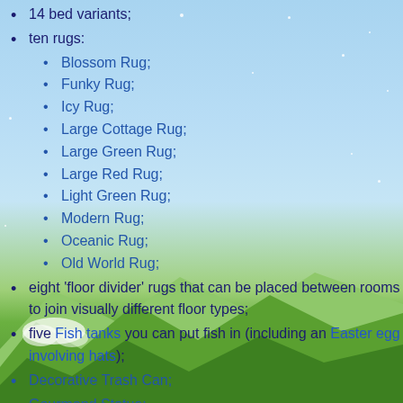ten rugs:
Blossom Rug;
Funky Rug;
Icy Rug;
Large Cottage Rug;
Large Green Rug;
Large Red Rug;
Light Green Rug;
Modern Rug;
Oceanic Rug;
Old World Rug;
eight 'floor divider' rugs that can be placed between rooms to join visually different floor types;
five Fish tanks you can put fish in (including an Easter egg involving hats);
Decorative Trash Can;
Gourmand Statue;
Iridium Krobus;
Large Brown Couch;